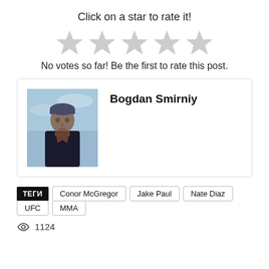Click on a star to rate it!
[Figure (illustration): Five empty gray star rating icons displayed in a row]
No votes so far! Be the first to rate this post.
Bogdan Smirniy
[Figure (photo): Profile photo of Bogdan Smirniy — a person wearing dark clothing against a cloudy sky background]
ТЕГИ  Conor McGregor  Jake Paul  Nate Diaz  UFC  MMA
1124